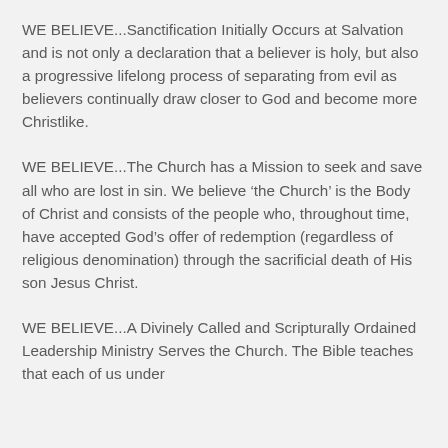WE BELIEVE...Sanctification Initially Occurs at Salvation and is not only a declaration that a believer is holy, but also a progressive lifelong process of separating from evil as believers continually draw closer to God and become more Christlike.
WE BELIEVE...The Church has a Mission to seek and save all who are lost in sin. We believe ‘the Church’ is the Body of Christ and consists of the people who, throughout time, have accepted God’s offer of redemption (regardless of religious denomination) through the sacrificial death of His son Jesus Christ.
WE BELIEVE...A Divinely Called and Scripturally Ordained Leadership Ministry Serves the Church. The Bible teaches that each of us under